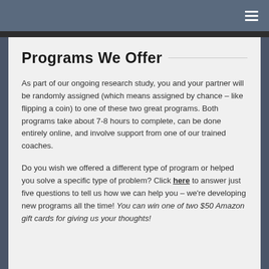Programs We Offer
As part of our ongoing research study, you and your partner will be randomly assigned (which means assigned by chance – like flipping a coin) to one of these two great programs. Both programs take about 7-8 hours to complete, can be done entirely online, and involve support from one of our trained coaches.
Do you wish we offered a different type of program or helped you solve a specific type of problem? Click here to answer just five questions to tell us how we can help you – we're developing new programs all the time! You can win one of two $50 Amazon gift cards for giving us your thoughts!